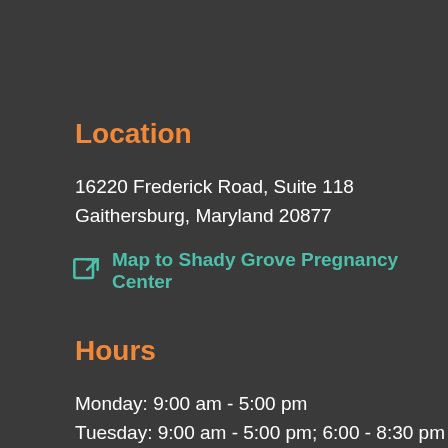Location
16220 Frederick Road, Suite 118
Gaithersburg, Maryland 20877
Map to Shady Grove Pregnancy Center
Hours
Monday: 9:00 am - 5:00 pm
Tuesday: 9:00 am - 5:00 pm; 6:00 - 8:30 pm
Wednesday: 9:00 am - 5:00 pm
Thursday: 9:00 am - 5:00 pm